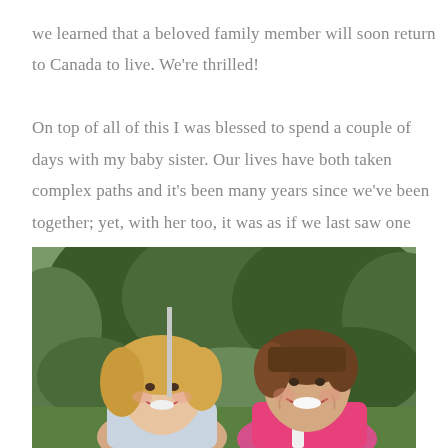we learned that a beloved family member will soon return to Canada to live. We're thrilled!

On top of all of this I was blessed to spend a couple of days with my baby sister. Our lives have both taken complex paths and it's been many years since we've been together; yet, with her too, it was as if we last saw one another yesterday.
[Figure (photo): Two smiling middle-aged women photographed outdoors in front of green trees and bushes. The woman on the left has blonde wavy hair and is wearing a light top. The woman on the right has short brown hair and is wearing a bright pink top. Both are smiling warmly at the camera.]